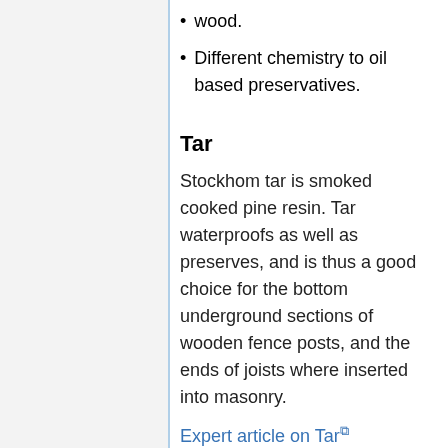wood.
Different chemistry to oil based preservatives.
Tar
Stockhom tar is smoked cooked pine resin. Tar waterproofs as well as preserves, and is thus a good choice for the bottom underground sections of wooden fence posts, and the ends of joists where inserted into masonry.
Expert article on Tar
Liquid asphalt
A sprayable diluted asphalt.